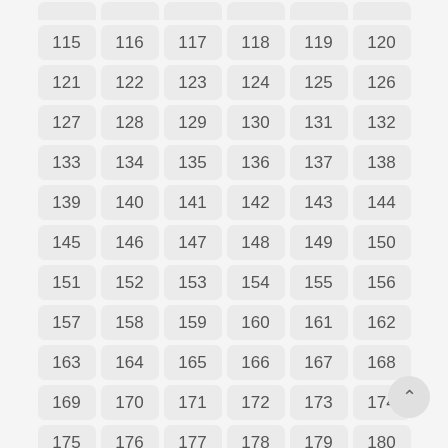| 115 | 116 | 117 | 118 | 119 | 120 |
| 121 | 122 | 123 | 124 | 125 | 126 |
| 127 | 128 | 129 | 130 | 131 | 132 |
| 133 | 134 | 135 | 136 | 137 | 138 |
| 139 | 140 | 141 | 142 | 143 | 144 |
| 145 | 146 | 147 | 148 | 149 | 150 |
| 151 | 152 | 153 | 154 | 155 | 156 |
| 157 | 158 | 159 | 160 | 161 | 162 |
| 163 | 164 | 165 | 166 | 167 | 168 |
| 169 | 170 | 171 | 172 | 173 | 174 |
| 175 | 176 | 177 | 178 | 179 | 180 |
| 181 | 182 | 183 | 184 | 185 | 186 |